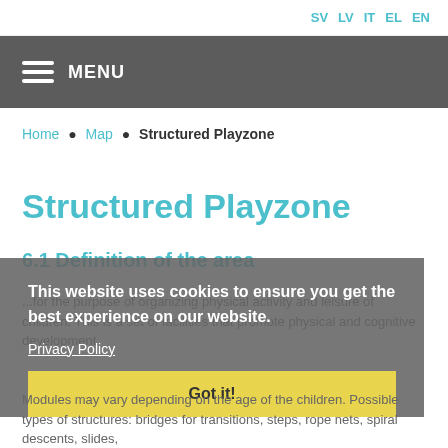SV LV IT EL EN
MENU
Home • Map • Structured Playzone
Structured Playzone
6.1 Definition of the area
This website uses cookies to ensure you get the best experience on our website.
Privacy Policy
Got it!
...for the purpose of organizing physical activity and leisure of children. This is a set of facilities that promote physical and cognitive development.
Modules may vary depending on the age of the children. Possible types of structures: bridges for transitions, steps, rope nets, spiral descents, slides,